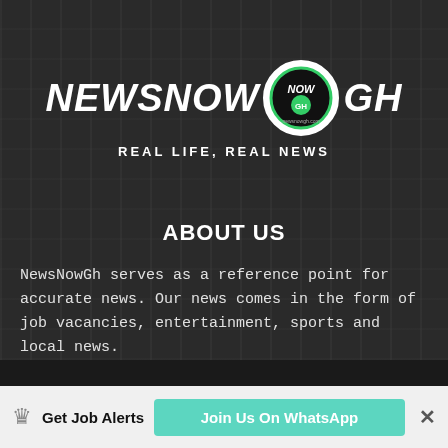[Figure (logo): NewsNowGH logo with circular emblem in center, text NEWSNOW on left and GH on right in white italic bold font]
REAL LIFE, REAL NEWS
ABOUT US
NewsNowGh serves as a reference point for accurate news. Our news comes in the form of job vacancies, entertainment, sports and local news.
Contact us: info@newsnowgh.com
Get Job Alerts   Join Us On WhatsApp   ×